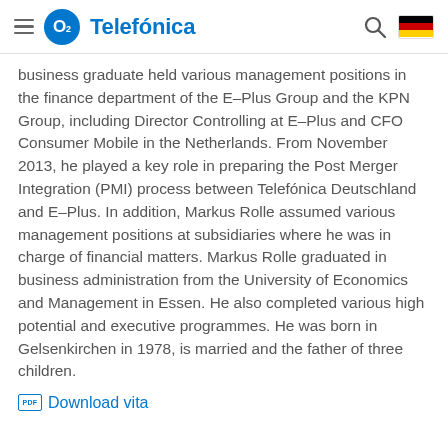O2 Telefónica
business graduate held various management positions in the finance department of the E-Plus Group and the KPN Group, including Director Controlling at E-Plus and CFO Consumer Mobile in the Netherlands. From November 2013, he played a key role in preparing the Post Merger Integration (PMI) process between Telefónica Deutschland and E-Plus. In addition, Markus Rolle assumed various management positions at subsidiaries where he was in charge of financial matters. Markus Rolle graduated in business administration from the University of Economics and Management in Essen. He also completed various high potential and executive programmes. He was born in Gelsenkirchen in 1978, is married and the father of three children.
Download vita